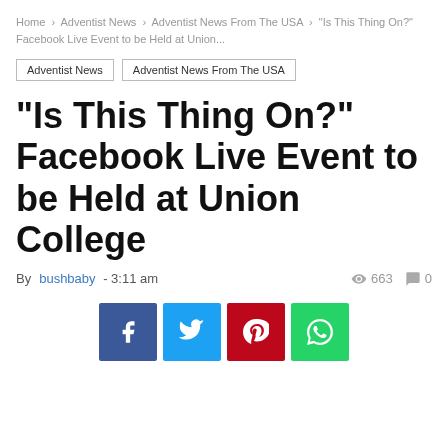Home > Adventist News > Adventist News From The USA > "Is This Thing On?" Facebook Live Event to be Held at Union...
Adventist News
Adventist News From The USA
"Is This Thing On?" Facebook Live Event to be Held at Union College
By bushbaby - 3:11 am   663  0
[Figure (infographic): Social sharing buttons: Facebook (blue), Twitter (light blue), Pinterest (red), WhatsApp (green)]